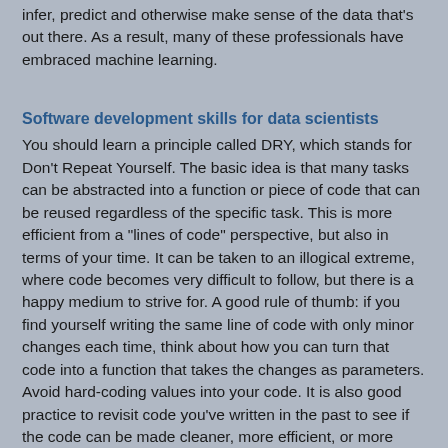infer, predict and otherwise make sense of the data that's out there. As a result, many of these professionals have embraced machine learning.
Software development skills for data scientists
You should learn a principle called DRY, which stands for Don't Repeat Yourself. The basic idea is that many tasks can be abstracted into a function or piece of code that can be reused regardless of the specific task. This is more efficient from a "lines of code" perspective, but also in terms of your time. It can be taken to an illogical extreme, where code becomes very difficult to follow, but there is a happy medium to strive for. A good rule of thumb: if you find yourself writing the same line of code with only minor changes each time, think about how you can turn that code into a function that takes the changes as parameters. Avoid hard-coding values into your code. It is also good practice to revisit code you've written in the past to see if the code can be made cleaner, more efficient, or more modular and reusable. This is called refactoring.